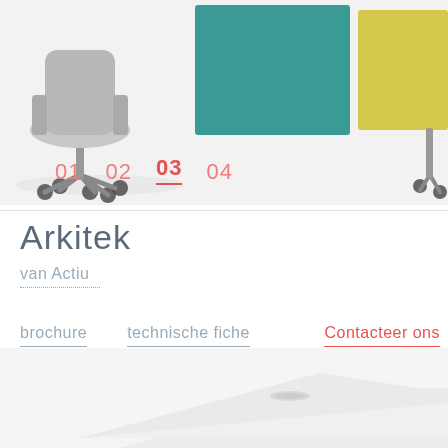[Figure (photo): Office furniture product photo showing an office chair on the left side and colorful acoustic panels (teal and yellow) in the center-right area, with another chair partially visible on the far right. Navigation dots 01 02 03 04 are visible at the bottom of the image with 03 highlighted.]
Arkitek
van Actiu
brochure   technische fiche   Contacteer ons
[Figure (photo): Partial view of a white office desk/table surface shown at an angle from below.]